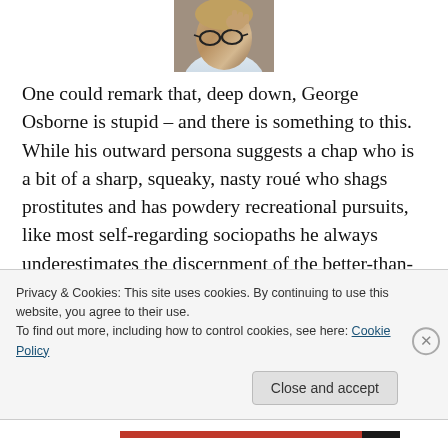[Figure (photo): Close-up photo of a person with glasses, cropped at top]
One could remark that, deep down, George Osborne is stupid – and there is something to this. While his outward persona suggests a chap who is a bit of a sharp, squeaky, nasty roué who shags prostitutes and has powdery recreational pursuits, like most self-regarding sociopaths he always underestimates the discernment of the better-than-average citizen. His facile decision to hire an over-
Privacy & Cookies: This site uses cookies. By continuing to use this website, you agree to their use.
To find out more, including how to control cookies, see here: Cookie Policy
Close and accept